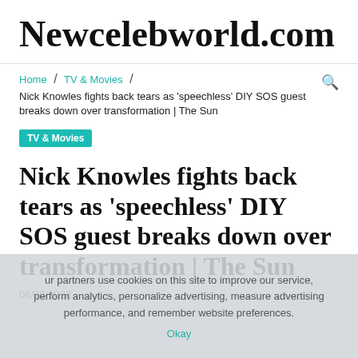Newcelebworld.com
Home / TV & Movies / Nick Knowles fights back tears as 'speechless' DIY SOS guest breaks down over transformation | The Sun
TV & Movies
Nick Knowles fights back tears as 'speechless' DIY SOS guest breaks down over transformation | The Sun
06/08/2022
ur partners use cookies on this site to improve our service, perform analytics, personalize advertising, measure advertising performance, and remember website preferences.
Okay